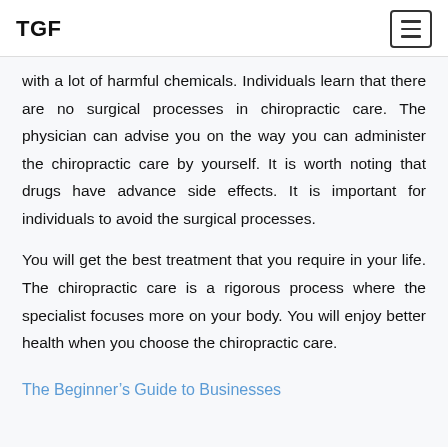TGF
with a lot of harmful chemicals. Individuals learn that there are no surgical processes in chiropractic care. The physician can advise you on the way you can administer the chiropractic care by yourself. It is worth noting that drugs have advance side effects. It is important for individuals to avoid the surgical processes.
You will get the best treatment that you require in your life. The chiropractic care is a rigorous process where the specialist focuses more on your body. You will enjoy better health when you choose the chiropractic care.
The Beginner’s Guide to Businesses